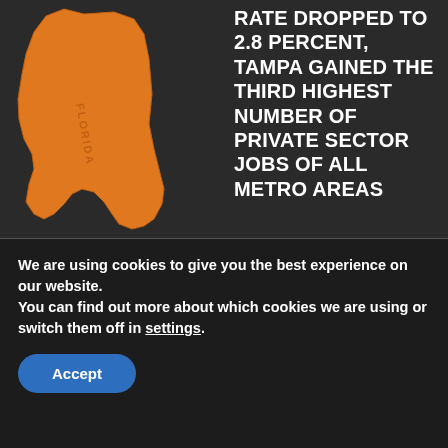[Figure (illustration): Orange map of Florida state]
FLORIDA'S UNEMPLOYMENT RATE DROPPED TO 2.8 PERCENT, TAMPA GAINED THE THIRD HIGHEST NUMBER OF PRIVATE SECTOR JOBS OF ALL METRO AREAS
[Figure (photo): Brazilian national identity card]
BRAZIL: NEW NATIONAL IDENTITY CARD TO BE ISSUED IN RIO GRANDE DO SUL TUESDAY
[Figure (photo): Crime scene tape reading R - CRIME SCENE]
PHILIPPINES: SHOOTING AT ATENEO DE MANILA UNIVERSITY LEAVES 3 DEAD, INJURES TWO
We are using cookies to give you the best experience on our website.
You can find out more about which cookies we are using or switch them off in settings.
Accept